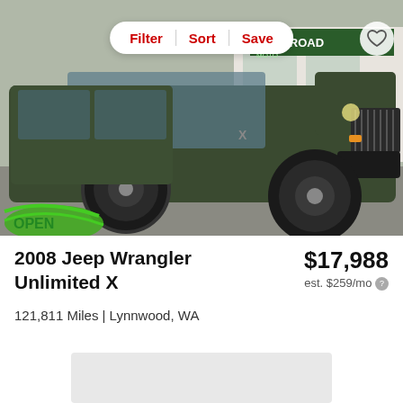[Figure (photo): Dark green 2008 Jeep Wrangler Unlimited X parked at Open Road Motorsports dealership lot. Filter/Sort/Save buttons overlay the top of the image. A heart icon is in the top-right corner.]
2008 Jeep Wrangler Unlimited X
$17,988
est. $259/mo
121,811 Miles | Lynnwood, WA